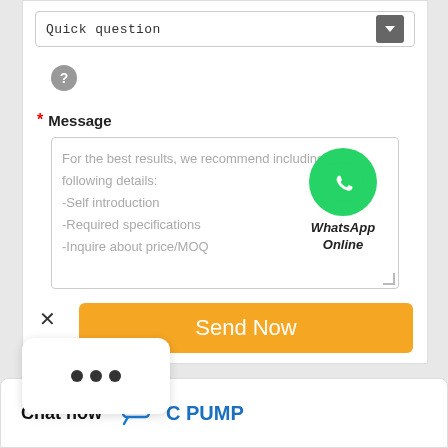Quick question
[Figure (other): Grey circular question mark icon]
* Message
For the best results, we recommend including the following details:
-Self introduction
-Required specifications
-Inquire about price/MOQ
[Figure (logo): WhatsApp green circle icon with phone handset, labeled 'WhatsApp Online' in italic bold]
Send Now
[Figure (other): White rounded rectangle popup with three dots (ellipsis)]
Chat now
C PUMP